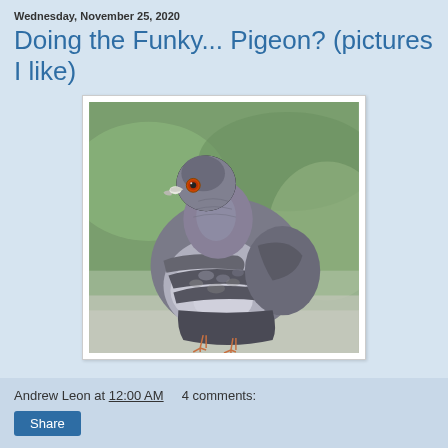Wednesday, November 25, 2020
Doing the Funky... Pigeon? (pictures I like)
[Figure (photo): A close-up photograph of a pigeon with grey and white speckled feathers, a small white beak patch, and an orange eye, perched in front of a blurred green background.]
Andrew Leon at 12:00 AM   4 comments:
Share